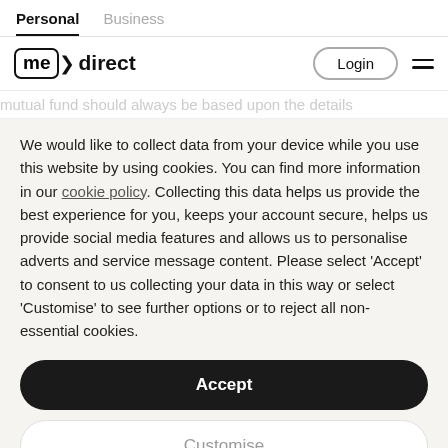Personal | Business
[Figure (logo): MeDirect bank logo with Login button and hamburger menu]
mutual fund should always be based upon the details
We would like to collect data from your device while you use this website by using cookies. You can find more information in our cookie policy. Collecting this data helps us provide the best experience for you, keeps your account secure, helps us provide social media features and allows us to personalise adverts and service message content. Please select 'Accept' to consent to us collecting your data in this way or select 'Customise' to see further options or to reject all non-essential cookies.
Accept
Customise